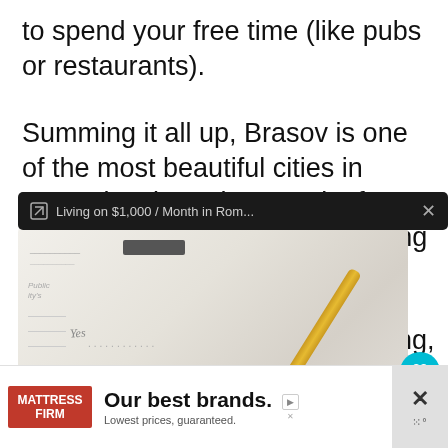to spend your free time (like pubs or restaurants).
Summing it all up, Brasov is one of the most beautiful cities in Transylvania and Romania, for both locals and tourists, and living here from 2-3 months to a few years d[...] dly get boring, g[...] ivities you can d[...] l to exploring t[...] discovering th[...] s[...] d nature.
[Figure (screenshot): Browser popup notification bar reading 'Living on $1,000 / Month in Rom...' with close button, overlaid on a photo of a pen on paper with Yes/No checkboxes]
[Figure (photo): Close-up photo of a pen resting on a document with Yes/No checkboxes and dotted lines]
[Figure (other): Heart/like button (teal circle with heart icon) and share button (white circle with share icon)]
[Figure (other): Advertisement banner: Mattress Firm logo with text 'Our best brands. Lowest prices, guaranteed.' with close/dismiss controls]